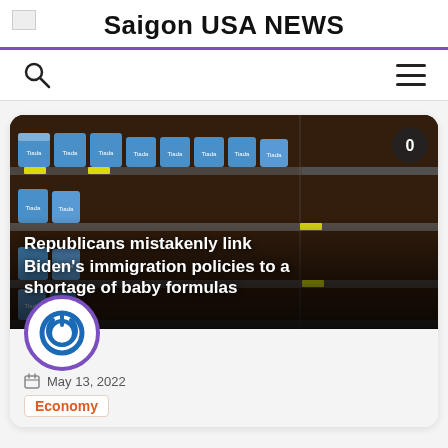Saigon USA NEWS
[Figure (screenshot): Photograph of near-empty store shelves with baby formula cans, taken in a retail store. Dark brown pegboard wall visible. Some cans on the left side, mostly empty shelves on the right. A circular badge with '0' overlay in top-right corner. Overlay text reads: Republicans mistakenly link Biden's immigration policies to a shortage of baby formulas]
May 13, 2022
Economy